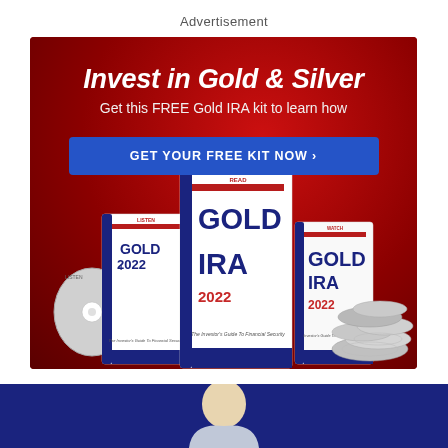Advertisement
[Figure (illustration): Gold IRA advertisement with red background showing 'Invest in Gold & Silver — Get this FREE Gold IRA kit to learn how', a blue CTA button 'GET YOUR FREE KIT NOW ›', and images of Gold IRA 2022 books/guides along with silver coins]